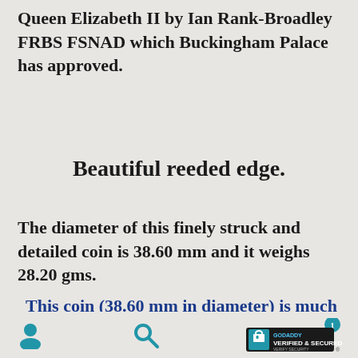Queen Elizabeth II by Ian Rank-Broadley FRBS FSNAD which Buckingham Palace has approved.
Beautiful reeded edge.
The diameter of this finely struck and detailed coin is 38.60 mm and it weighs 28.20 gms.
This coin (38.60 mm in diameter) is much larger than both USA quarter (24.26 mm in diameter) and USA half
[user icon] [search icon] [GoDaddy Verified & Secured badge]